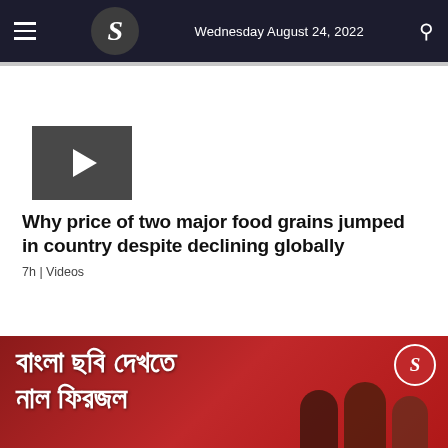Wednesday August 24, 2022
[Figure (screenshot): Video thumbnail with dark gray background and white play button triangle]
Why price of two major food grains jumped in country despite declining globally
7h | Videos
[Figure (photo): Red background image with Bengali text overlay reading 'বাংলা ছবি দেখতে নাল ফিরজল' and people in the foreground, with a circular B logo in the top right]